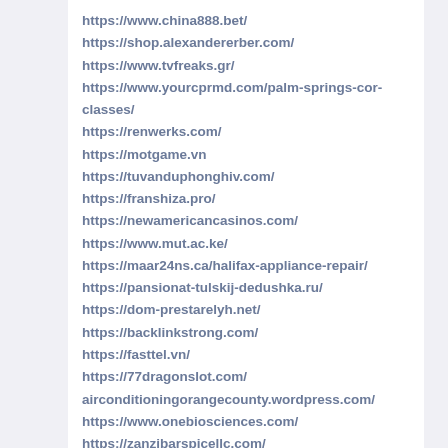https://www.china888.bet/
https://shop.alexandererber.com/
https://www.tvfreaks.gr/
https://www.yourcprmd.com/palm-springs-cor-classes/
https://renwerks.com/
https://motgame.vn
https://tuvanduphonghiv.com/
https://franshiza.pro/
https://newamericancasinos.com/
https://www.mut.ac.ke/
https://maar24ns.ca/halifax-appliance-repair/
https://pansionat-tulskij-dedushka.ru/
https://dom-prestarelyh.net/
https://backlinkstrong.com/
https://fasttel.vn/
https://77dragonslot.com/
airconditioningorangecounty.wordpress.com/
https://www.onebiosciences.com/
https://zanzibarspicellc.com/